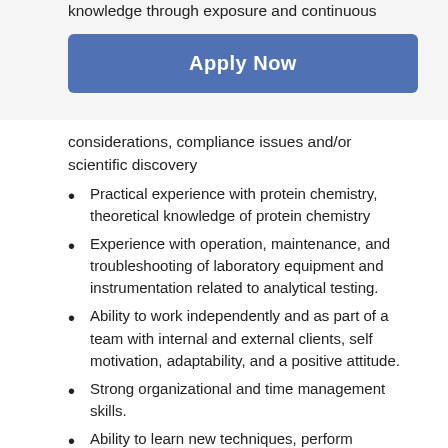knowledge through exposure and continuous
Apply Now
considerations, compliance issues and/or scientific discovery
Practical experience with protein chemistry, theoretical knowledge of protein chemistry
Experience with operation, maintenance, and troubleshooting of laboratory equipment and instrumentation related to analytical testing.
Ability to work independently and as part of a team with internal and external clients, self motivation, adaptability, and a positive attitude.
Strong organizational and time management skills.
Ability to learn new techniques, perform multiple tasks simultaneously, follow instructions, and comply with company policies.
Ability to address client questions independently